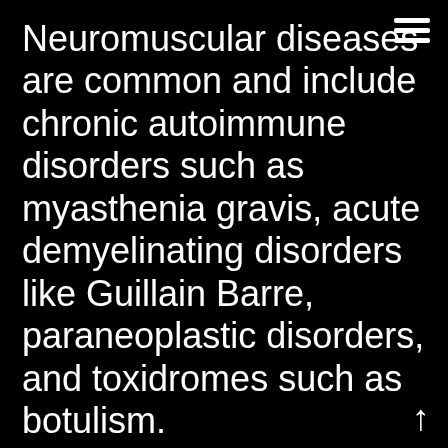Neuromuscular diseases are common and include chronic autoimmune disorders such as myasthenia gravis, acute demyelinating disorders like Guillain Barre, paraneoplastic disorders, and toxidromes such as botulism.
The presentation of many neuromuscular diseases can be subtle: diffuse weakness, subtle swallowing difficulty, or double vision. Many patients do not present until it's nearly too late